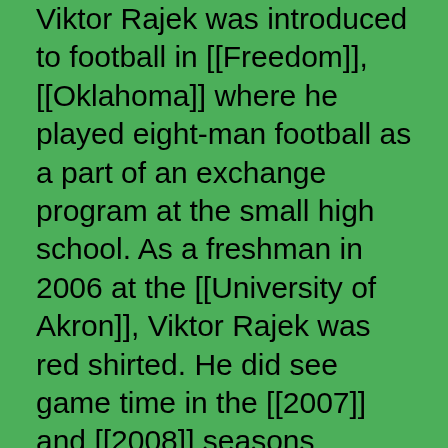Viktor Rajek was introduced to football in [[Freedom]], [[Oklahoma]] where he played eight-man football as a part of an exchange program at the small high school. As a freshman in 2006 at the [[University of Akron]], Viktor Rajek was red shirted. He did see game time in the [[2007]] and [[2008]] seasons playing against [[Army]] (His first statistic was a assist tackle) , [[Ohio State]], [[Indiana]] and [[Central Michigan]].
This season, Akron Zips fans are looking forward to seeing Viktor take the field more often and are really eager to see what this former Olympian will do for the Zips!
[[2009]] Viktor's last game he saw action was unfortunately against a team, [[Army]] he played for first time ever at the [[NCAA]] level. His last statistic was a tackle and forced fumble on which play he got injured and never returned on the field.